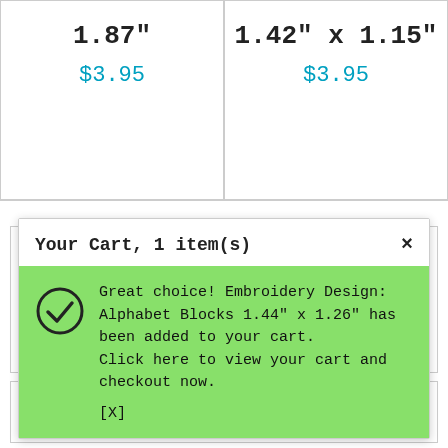1.87"
$3.95
1.42" x 1.15"
$3.95
Your Cart, 1 item(s)
Great choice! Embroidery Design: Alphabet Blocks 1.44" x 1.26" has been added to your cart. Click here to view your cart and checkout now. [X]
[Figure (illustration): Embroidery design of alphabet blocks showing letters A, B, C in stacked colorful blocks (blue, green, red)]
$3.95
Embroidery Design: Alphabet Blocks 1.44" x 1.26"
Plumber1.48" x 1.12"
Design: Tractor with Wheat